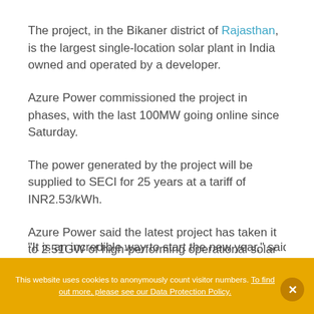The project, in the Bikaner district of Rajasthan, is the largest single-location solar plant in India owned and operated by a developer.
Azure Power commissioned the project in phases, with the last 100MW going online since Saturday.
The power generated by the project will be supplied to SECI for 25 years at a tariff of INR2.53/kWh.
Azure Power said the latest project has taken it to 2.51GW of high-performing operational solar assets in India.
“It is an incredible way to start the new year,” said Azure
This website uses cookies to anonymously count visitor numbers. To find out more, please see our Data Protection Policy.